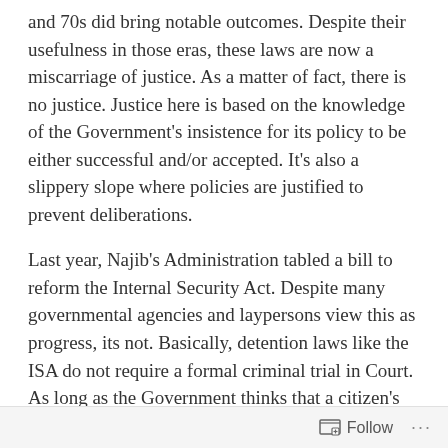and 70s did bring notable outcomes. Despite their usefulness in those eras, these laws are now a miscarriage of justice. As a matter of fact, there is no justice. Justice here is based on the knowledge of the Government's insistence for its policy to be either successful and/or accepted. It's also a slippery slope where policies are justified to prevent deliberations.
Last year, Najib's Administration tabled a bill to reform the Internal Security Act. Despite many governmental agencies and laypersons view this as progress, its not. Basically, detention laws like the ISA do not require a formal criminal trial in Court. As long as the Government thinks that a citizen's action or activity is subversive and/or a threat to national security, they can order that person be detained without a trial. The question here is do we need these laws today? The answer is simple.
Follow ···